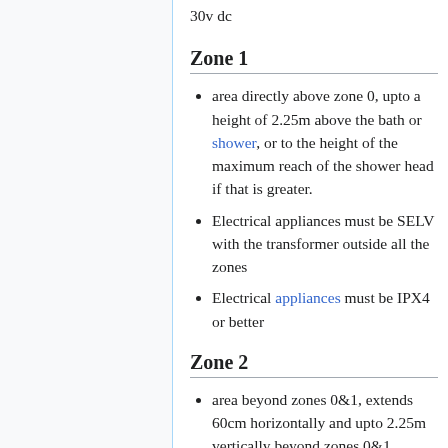30v dc
Zone 1
area directly above zone 0, upto a height of 2.25m above the bath or shower, or to the height of the maximum reach of the shower head if that is greater.
Electrical appliances must be SELV with the transformer outside all the zones
Electrical appliances must be IPX4 or better
Zone 2
area beyond zones 0&1, extends 60cm horizontally and upto 2.25m vertically beyond zones 0&1.
Also area within 60cm of sinks, plus area directly below this